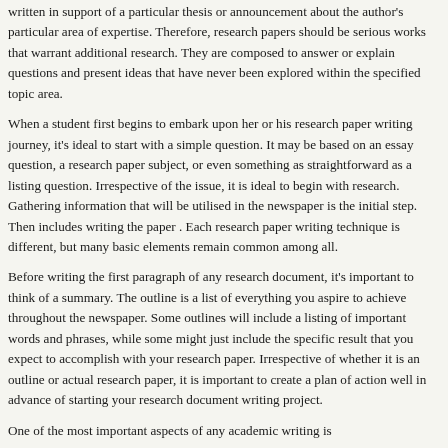written in support of a particular thesis or announcement about the author's particular area of expertise. Therefore, research papers should be serious works that warrant additional research. They are composed to answer or explain questions and present ideas that have never been explored within the specified topic area.
When a student first begins to embark upon her or his research paper writing journey, it's ideal to start with a simple question. It may be based on an essay question, a research paper subject, or even something as straightforward as a listing question. Irrespective of the issue, it is ideal to begin with research. Gathering information that will be utilised in the newspaper is the initial step. Then includes writing the paper . Each research paper writing technique is different, but many basic elements remain common among all.
Before writing the first paragraph of any research document, it's important to think of a summary. The outline is a list of everything you aspire to achieve throughout the newspaper. Some outlines will include a listing of important words and phrases, while some might just include the specific result that you expect to accomplish with your research paper. Irrespective of whether it is an outline or actual research paper, it is important to create a plan of action well in advance of starting your research document writing project.
One of the most important aspects of any academic writing is